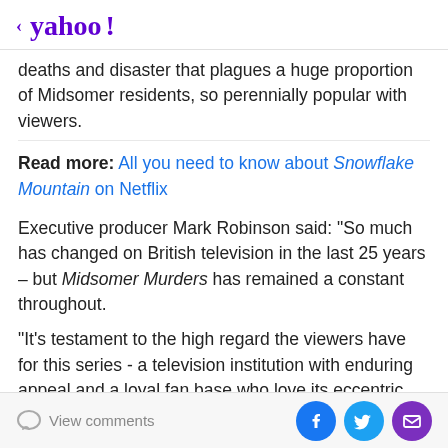< yahoo!
deaths and disaster that plagues a huge proportion of Midsomer residents, so perennially popular with viewers.
Read more: All you need to know about Snowflake Mountain on Netflix
Executive producer Mark Robinson said: "So much has changed on British television in the last 25 years – but Midsomer Murders has remained a constant throughout.
"It's testament to the high regard the viewers have for this series - a television institution with enduring appeal and a loyal fan base who love its eccentric take on the classic whodunnit. It's been a privilege to hear about its journey from those who have brought it to our screens."
View comments